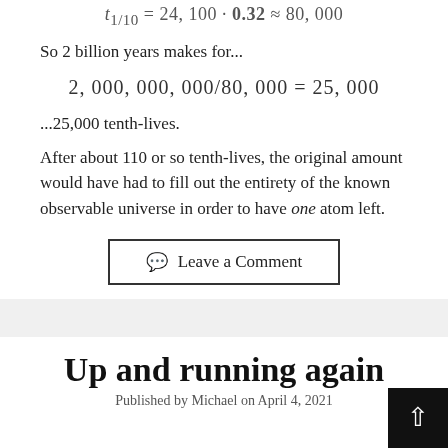So 2 billion years makes for...
...25,000 tenth-lives.
After about 110 or so tenth-lives, the original amount would have had to fill out the entirety of the known observable universe in order to have one atom left.
💬 Leave a Comment
Up and running again
Published by Michael on April 4, 2021